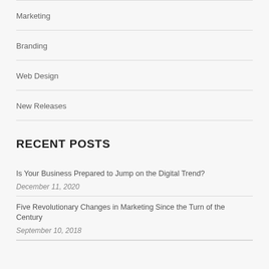Marketing
Branding
Web Design
New Releases
RECENT POSTS
Is Your Business Prepared to Jump on the Digital Trend?
December 11, 2020
Five Revolutionary Changes in Marketing Since the Turn of the Century
September 10, 2018